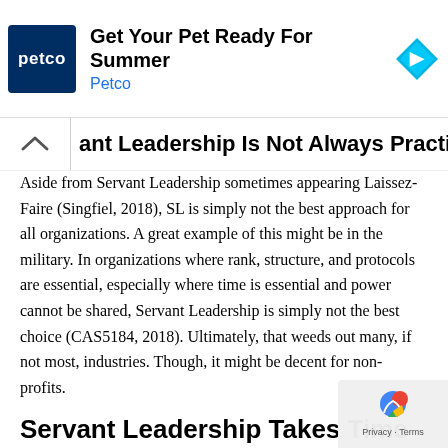[Figure (other): Petco advertisement banner: logo (blue square with 'petco' text), headline 'Get Your Pet Ready For Summer', subtext 'Petco', and a cyan diamond navigation icon on the right.]
ant Leadership Is Not Always Practical
Aside from Servant Leadership sometimes appearing Laissez-Faire (Singfiel, 2018), SL is simply not the best approach for all organizations. A great example of this might be in the military. In organizations where rank, structure, and protocols are essential, especially where time is essential and power cannot be shared, Servant Leadership is simply not the best choice (CAS5184, 2018). Ultimately, that weeds out many, if not most, industries. Though, it might be decent for non-profits.
Servant Leadership Takes Time
Servant Leadership takes lots of time (Tee, 2018). When one considers the development of others, building relationships, building trust, and attempting to discover the wants, needs, desires of those who comprise the organization, one quickly gets the sense that time is a factor. Hence, when time is pressed